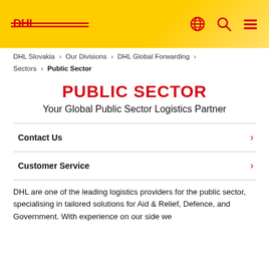DHL logo header with globe, search, and menu icons
DHL Slovakia > Our Divisions > DHL Global Forwarding > Sectors > Public Sector
PUBLIC SECTOR
Your Global Public Sector Logistics Partner
Contact Us
Customer Service
DHL are one of the leading logistics providers for the public sector, specialising in tailored solutions for Aid & Relief, Defence, and Government. With experience on our side we